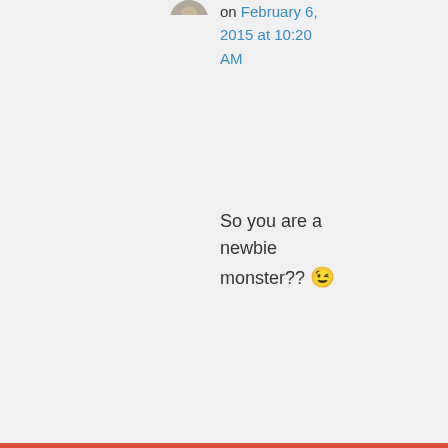on February 6, 2015 at 10:20 AM
So you are a newbie monster?? 😉
CrazyChinese Family on
Privacy & Cookies: This site uses cookies. By continuing to use this website, you agree to their use.
To find out more, including how to control cookies, see here: Cookie Policy
Close and accept